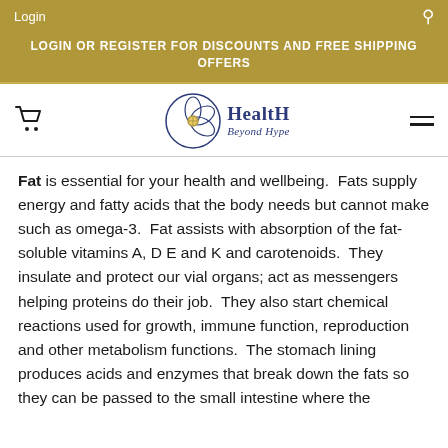Login
LOGIN OR REGISTER FOR DISCOUNTS AND FREE SHIPPING OFFERS
[Figure (logo): Health Beyond Hype logo with circular ornamental emblem and stylized text]
Fat is essential for your health and wellbeing. Fats supply energy and fatty acids that the body needs but cannot make such as omega-3. Fat assists with absorption of the fat-soluble vitamins A, D E and K and carotenoids. They insulate and protect our vial organs; act as messengers helping proteins do their job. They also start chemical reactions used for growth, immune function, reproduction and other metabolism functions. The stomach lining produces acids and enzymes that break down the fats so they can be passed to the small intestine where the